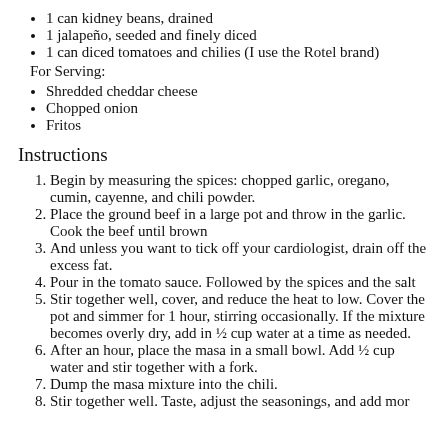1 can kidney beans, drained
1 jalapeño, seeded and finely diced
1 can diced tomatoes and chilies (I use the Rotel brand)
For Serving:
Shredded cheddar cheese
Chopped onion
Fritos
Instructions
Begin by measuring the spices: chopped garlic, oregano, cumin, cayenne, and chili powder.
Place the ground beef in a large pot and throw in the garlic. Cook the beef until brown
And unless you want to tick off your cardiologist, drain off the excess fat.
Pour in the tomato sauce. Followed by the spices and the salt
Stir together well, cover, and reduce the heat to low. Cover the pot and simmer for 1 hour, stirring occasionally. If the mixture becomes overly dry, add in ½ cup water at a time as needed.
After an hour, place the masa in a small bowl. Add ½ cup water and stir together with a fork.
Dump the masa mixture into the chili.
Stir together well. Taste, adjust the seasonings, and add mor